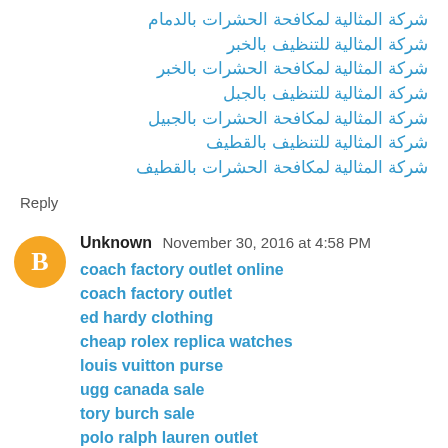شركة المثالية لمكافحة الحشرات بالدمام
شركة المثالية للتنظيف بالخبر
شركة المثالية لمكافحة الحشرات بالخبر
شركة المثالية للتنظيف بالجبل
شركة المثالية لمكافحة الحشرات بالجبيل
شركة المثالية للتنظيف بالقطيف
شركة المثالية لمكافحة الحشرات بالقطيف
Reply
Unknown  November 30, 2016 at 4:58 PM
coach factory outlet online
coach factory outlet
ed hardy clothing
cheap rolex replica watches
louis vuitton purse
ugg canada sale
tory burch sale
polo ralph lauren outlet
james shoes
oakley sunglasses wholesale
hojjxa20161201